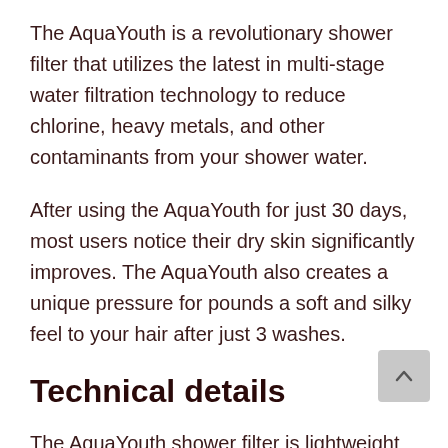The AquaYouth is a revolutionary shower filter that utilizes the latest in multi-stage water filtration technology to reduce chlorine, heavy metals, and other contaminants from your shower water.
After using the AquaYouth for just 30 days, most users notice their dry skin significantly improves. The AquaYouth also creates a unique pressure for pounds a soft and silky feel to your hair after just 3 washes.
Technical details
The AquaYouth shower filter is lightweight and